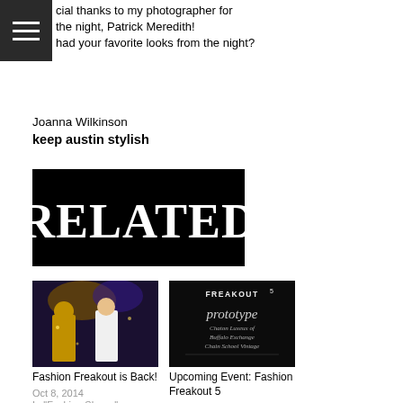cial thanks to my photographer for the night, Patrick Meredith! had your favorite looks from the night?
Joanna Wilkinson
keep austin stylish
[Figure (other): Black banner with white serif bold text reading RELATED]
[Figure (photo): Photo of Fashion Freakout performers on stage]
Fashion Freakout is Back!
Oct 8, 2014
In "Fashion Shows"
[Figure (photo): Dark promotional flyer for Freakout 5 / prototype event]
Upcoming Event: Fashion Freakout 5
Feb 15, 2012
With 2,608 comments